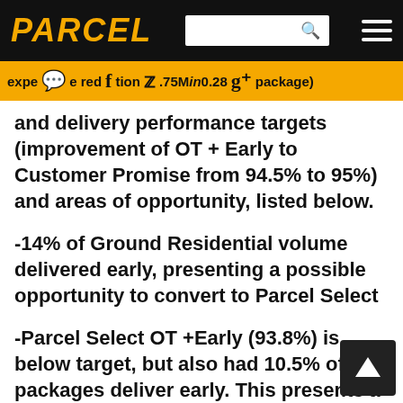PARCEL
expense reduction $2.75M $0.28 per package) and delivery performance targets (improvement of OT + Early to Customer Promise from 94.5% to 95%) and areas of opportunity, listed below.
-14% of Ground Residential volume delivered early, presenting a possible opportunity to convert to Parcel Select
-Parcel Select OT +Early (93.8%) is below target, but also had 10.5% of packages deliver early. This presents a unique challenge, especially with Parcel Select representing the highest expense